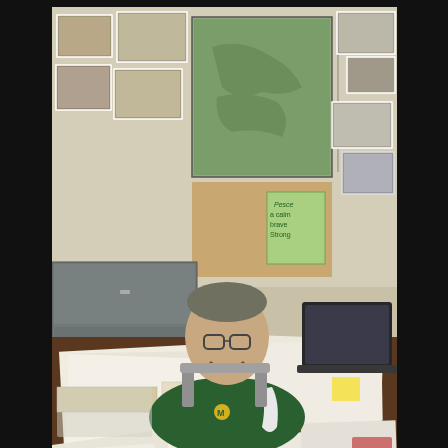[Figure (photo): Theology teacher John Norman sitting and smiling at his desk, which is covered with papers, books, and documents. Behind him is a wall covered with framed photographs and a large map. He is wearing a green jacket with a white stripe and an 'M' logo. The room appears to be a teacher's office.]
Theology teacher John Norman poses at his desk in the morning. He always makes time every morning to meditate. For Norman, meditation is, "an openness to listen to the